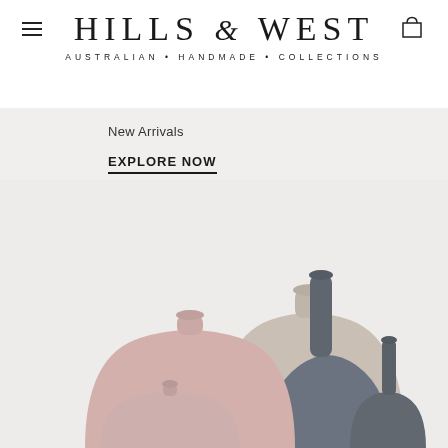HILLS & WEST
AUSTRALIAN • HANDMADE • COLLECTIONS
New Arrivals
EXPLORE NOW
[Figure (photo): Group of five ceramic vases in matte finishes: one tall dark grey bottle-neck vase, one large rounded beige/taupe vase, one large rounded pink vase, one small round pink vase with tiny neck, and one dark grey bottle vase, arranged together on a light grey background.]